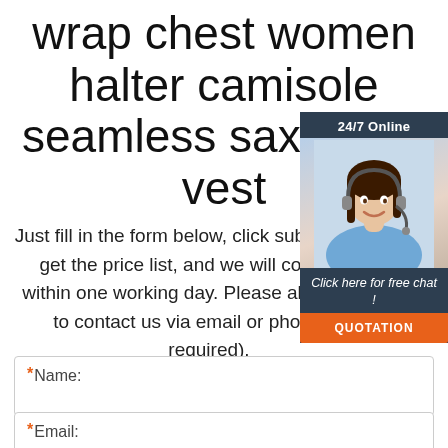wrap chest women halter camisole seamless saxy tube vest
[Figure (illustration): Customer service chat widget with 24/7 Online label, photo of a woman with headset, 'Click here for free chat!' text, and orange QUOTATION button]
Just fill in the form below, click submit, you will get the price list, and we will contact you within one working day. Please also feel free to contact us via email or phone. (* is required).
* Name:
* Email: